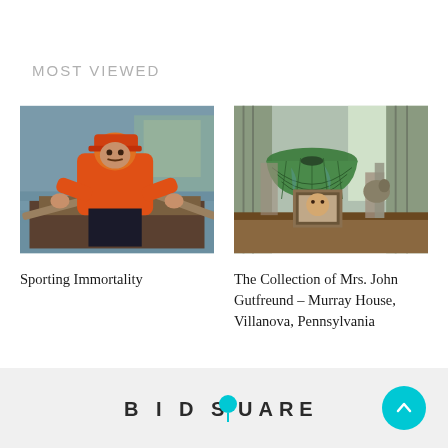MOST VIEWED
[Figure (photo): Man in orange shirt and cap rowing a boat on water, painting or photograph with sporting theme]
Sporting Immortality
[Figure (photo): Collection of antique items including a Tiffany-style lamp, framed portrait, and various decorative objects on a table]
The Collection of Mrs. John Gutfreund – Murray House, Villanova, Pennsylvania
BIDSQUARE